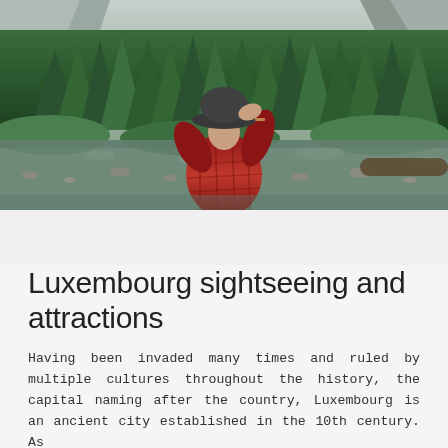[Figure (photo): A person wearing a black hat and red plaid shirt viewed from behind, standing near a rocky river with dense green forest and mountain cliffs in the background.]
Luxembourg sightseeing and attractions
Having been invaded many times and ruled by multiple cultures throughout the history, the capital naming after the country, Luxembourg is an ancient city established in the 10th century. As